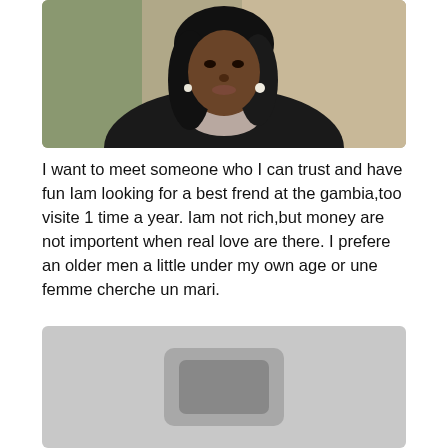[Figure (photo): Portrait photo of a young woman with long dark hair, wearing a dark jacket and a light grey/pink scarf, with a pearl earring. Background is blurred outdoor setting.]
I want to meet someone who I can trust and have fun Iam looking for a best frend at the gambia,too visite 1 time a year. Iam not rich,but money are not importent when real love are there. I prefere an older men a little under my own age or une femme cherche un mari.
[Figure (photo): A partially visible grey/silver image, appears to be a cropped or loading photo with a rounded rectangle shape visible in the center.]